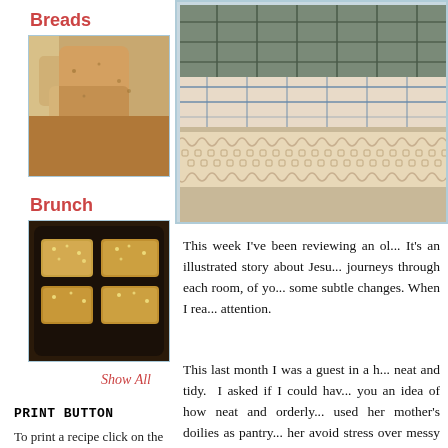Breads
[Figure (photo): Photo of bread loaves/rolls on a cloth, thumbnail image]
Brunch
[Figure (photo): Photo of brunch pastries or fried dough in a dark pan, thumbnail image]
Show All
PRINT BUTTON
To print a recipe click on the Title. You will find the Print button at the bottom of
[Figure (photo): Large photo of folded linens/doilies with crochet lace trim]
This week I've been reviewing an ol... It's an illustrated story about Jesu... journeys through each room, of yo... some subtle changes. When I rea... attention.
This last month I was a guest in a h... neat and tidy. I asked if I could hav... you an idea of how neat and orderly... used her mother's doilies as pantry... her avoid stress over messy closets... my closets and pantries. I know th...